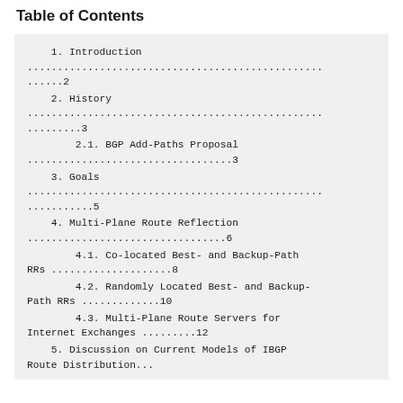Table of Contents
1. Introduction ................................................2
2. History .........................................................3
2.1. BGP Add-Paths Proposal ...................................3
3. Goals ...........................................................5
4. Multi-Plane Route Reflection ...............................6
4.1. Co-located Best- and Backup-Path RRs ...................8
4.2. Randomly Located Best- and Backup-Path RRs .............10
4.3. Multi-Plane Route Servers for Internet Exchanges .........12
5. Discussion on Current Models of IBGP Route Distribution ...13